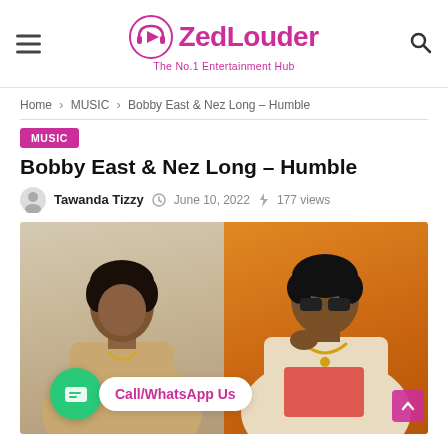ZedLouder — The No.1 Entertainment Hub
Home > MUSIC > Bobby East & Nez Long – Humble
MUSIC
Bobby East & Nez Long – Humble
Tawanda Tizzy   June 10, 2022   177 views
[Figure (photo): Two artists side by side: one in a tan jacket against a beige background (left), one in sunglasses and a jersey with gold chain against an orange background (right). A WhatsApp chat bubble overlay reads 'Call/WhatsApp Us'.]